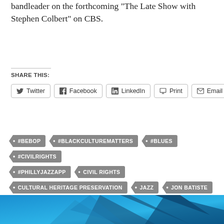bandleader on the forthcoming “The Late Show with Stephen Colbert” on CBS.
SHARE THIS:
Twitter
Facebook
LinkedIn
Print
Email
#BEBOP
#BLACKCULTUREMATTERS
#BLUES
#CIVILRIGHTS
#PHILLYJAZZAPP
CIVIL RIGHTS
CULTURAL HERITAGE PRESERVATION
JAZZ
JON BATISTE
RACE
WYNTON MARSALIS
[Figure (photo): Blue and teal geometric/architectural image at the bottom of the page]